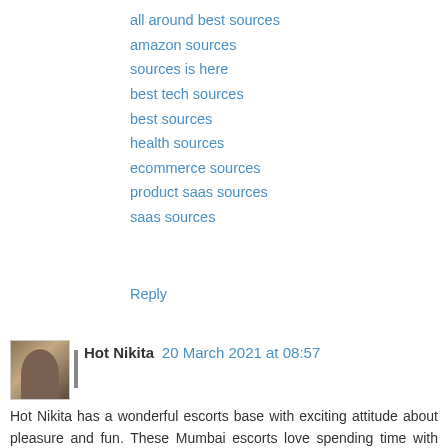all around best sources
amazon sources
sources is here
best tech sources
best sources
health sources
ecommerce sources
product saas sources
saas sources
Reply
Hot Nikita  20 March 2021 at 08:57
Hot Nikita has a wonderful escorts base with exciting attitude about pleasure and fun. These Mumbai escorts love spending time with handsome hunks of the city and they like to be loved like mad when it comes to their time in bed.
Mumbai escorts
call girls in Mumbai
Andheri escorts